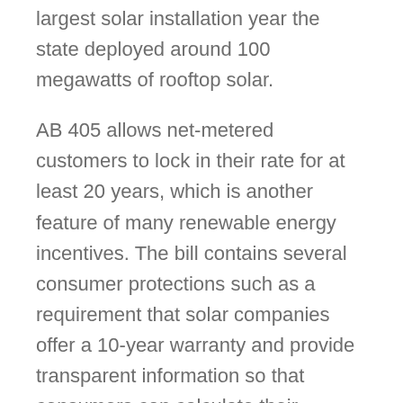largest solar installation year the state deployed around 100 megawatts of rooftop solar.
AB 405 allows net-metered customers to lock in their rate for at least 20 years, which is another feature of many renewable energy incentives. The bill contains several consumer protections such as a requirement that solar companies offer a 10-year warranty and provide transparent information so that consumers can calculate their savings. The legislation also ensures that net metering will continue even if Nevada legislators update the state's